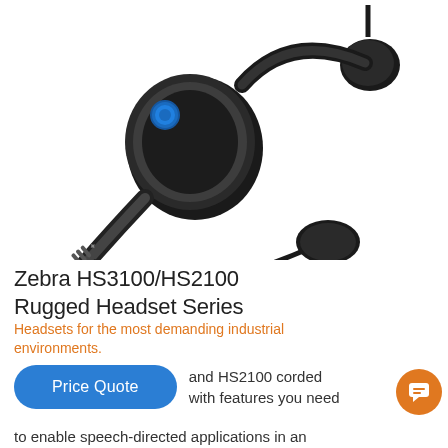[Figure (photo): Zebra HS3100/HS2100 rugged Bluetooth headset with boom microphone, shown from front-left angle. Black headset with foam ear cup, blue accent ring, adjustable headband with Zebra logo, and a flexible boom arm with a large round foam-covered microphone.]
Zebra HS3100/HS2100 Rugged Headset Series
Headsets for the most demanding industrial environments.
and HS2100 corded with features you need to enable speech-directed applications in an